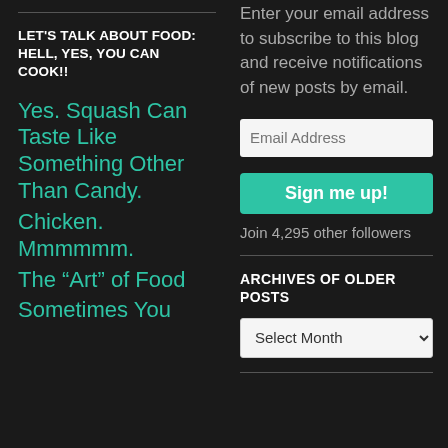LET'S TALK ABOUT FOOD: HELL, YES, YOU CAN COOK!!
Yes. Squash Can Taste Like Something Other Than Candy.
Chicken. Mmmmmm.
The “Art” of Food
Sometimes You
Enter your email address to subscribe to this blog and receive notifications of new posts by email.
Email Address
Sign me up!
Join 4,295 other followers
ARCHIVES OF OLDER POSTS
Select Month